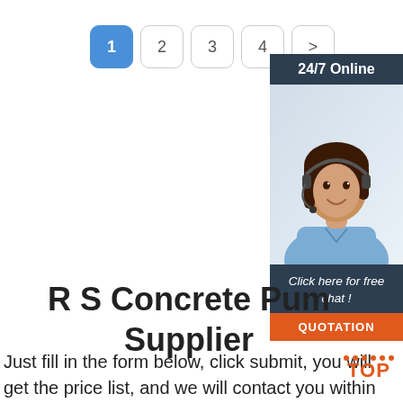[Figure (screenshot): Pagination bar with buttons 1 (active/blue), 2, 3, 4, and >]
[Figure (infographic): Sidebar widget showing 24/7 Online header, photo of woman with headset, Click here for free chat! text, and QUOTATION orange button]
R S Concrete Pump Supplier
Just fill in the form below, click submit, you will get the price list, and we will contact you within one working day. Please also feel free to contact us via